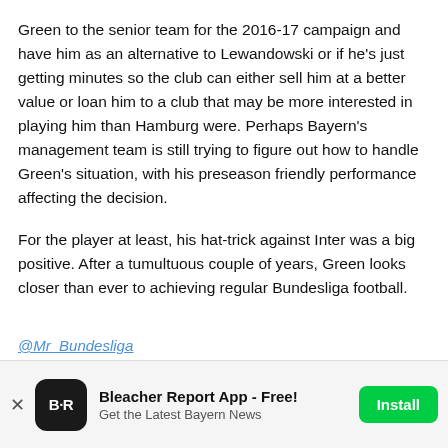Green to the senior team for the 2016-17 campaign and have him as an alternative to Lewandowski or if he's just getting minutes so the club can either sell him at a better value or loan him to a club that may be more interested in playing him than Hamburg were. Perhaps Bayern's management team is still trying to figure out how to handle Green's situation, with his preseason friendly performance affecting the decision.
For the player at least, his hat-trick against Inter was a big positive. After a tumultuous couple of years, Green looks closer than ever to achieving regular Bundesliga football.
@Mr_Bundesliga
[Figure (other): Bleacher Report app advertisement banner with B/R logo, title 'Bleacher Report App - Free!', subtitle 'Get the Latest Bayern News', and a green Install button.]